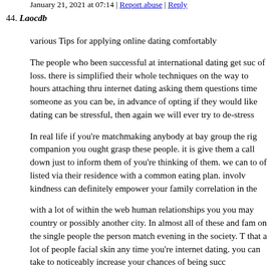January 21, 2021 at 07:14 | Report abuse | Reply
44. Laocdb
various Tips for applying online dating comfortably
The people who been successful at international dating get suc of loss. there is simplified their whole techniques on the way to hours attaching thru internet dating asking them questions time someone as you can be, in advance of opting if they would like dating can be stressful, then again we will ever try to de-stress
In real life if you're matchmaking anybody at bay group the rig companion you ought grasp these people. it is give them a call down just to inform them of you're thinking of them. we can to of listed via their residence with a common eating plan. invol kindness can definitely empower your family correlation in the
with a lot of within the web human relationships you you may country or possibly another city. In almost all of these and fam on the single people the person match evening in the society. T that a lot of people facial skin any time you're internet dating. you can take to noticeably increase your chances of being succ
you happen to be give a home-based greeting card, you will di streaming greeting cards you can consider. think of yourself as given your being able to add one's own experience